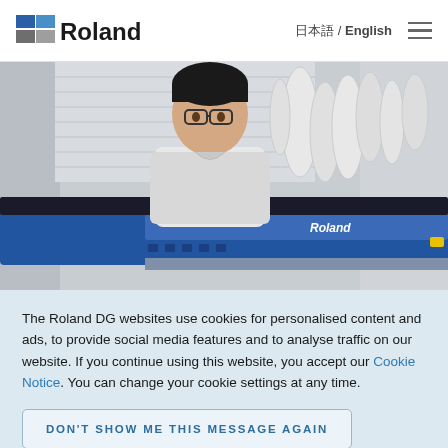Roland  日本語 / English
[Figure (photo): A man in a white t-shirt standing in front of a large blue Roland DG wide-format inkjet printer, with rolls of media in the background.]
The Roland DG websites use cookies for personalised content and ads, to provide social media features and to analyse traffic on our website. If you continue using this website, you accept our Cookie Notice. You can change your cookie settings at any time.
DON'T SHOW ME THIS MESSAGE AGAIN